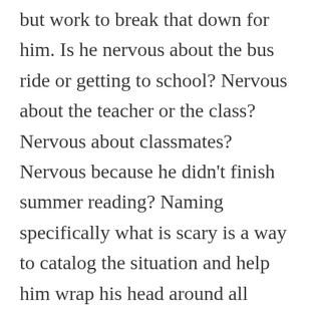but work to break that down for him. Is he nervous about the bus ride or getting to school? Nervous about the teacher or the class?  Nervous about classmates?  Nervous because he didn't finish summer reading? Naming specifically what is scary is a way to catalog the situation and help him wrap his head around all aspects of it. Remember to point out the things he didn't name and the moments of potential confidence in that first day. He may be worried about lunch but remind him that he knows where the cafeteria is and he may have had previous successful experiences eating in either this cafeteria or another one that can help him feel more confident about